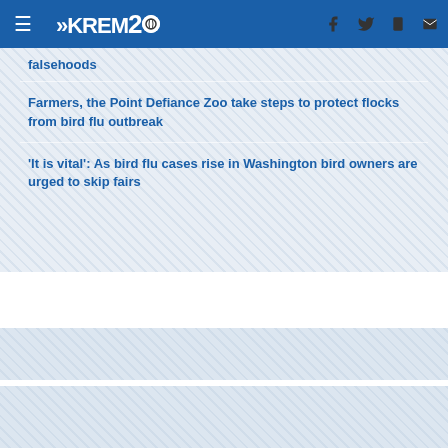KREM2
falsehoods
Farmers, the Point Defiance Zoo take steps to protect flocks from bird flu outbreak
'It is vital': As bird flu cases rise in Washington bird owners are urged to skip fairs